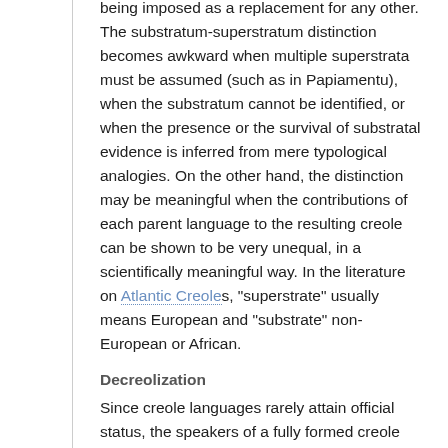being imposed as a replacement for any other. The substratum-superstratum distinction becomes awkward when multiple superstrata must be assumed (such as in Papiamentu), when the substratum cannot be identified, or when the presence or the survival of substratal evidence is inferred from mere typological analogies. On the other hand, the distinction may be meaningful when the contributions of each parent language to the resulting creole can be shown to be very unequal, in a scientifically meaningful way. In the literature on Atlantic Creoles, "superstrate" usually means European and "substrate" non-European or African.
Decreolization
Since creole languages rarely attain official status, the speakers of a fully formed creole may eventually feel compelled to conform their speech